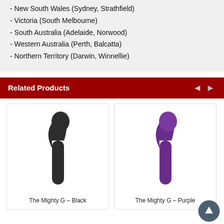- New South Wales (Sydney, Strathfield)
- Victoria (South Melbourne)
- South Australia (Adelaide, Norwood)
- Western Australia (Perth, Balcatta)
- Northern Territory (Darwin, Winnellie)
Related Products
[Figure (photo): The Mighty G - Black product photo, a black G-spot vibrator]
The Mighty G – Black
[Figure (photo): The Mighty G - Purple product photo, a purple G-spot vibrator]
The Mighty G – Purple